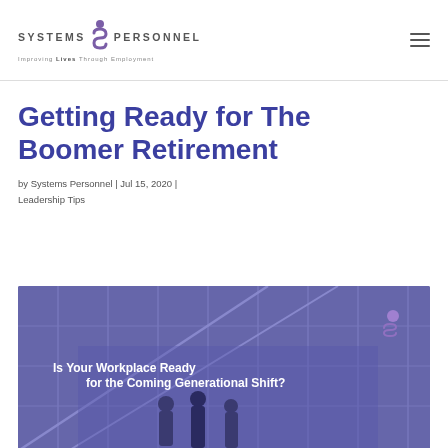[Figure (logo): Systems Personnel logo with person icon and tagline 'Improving Lives Through Employment']
Getting Ready for The Boomer Retirement
by Systems Personnel | Jul 15, 2020 | Leadership Tips
[Figure (photo): Blue-purple tinted photo of office building interior with silhouettes of three people. Text overlay reads 'Is Your Workplace Ready for the Coming Generational Shift?' with Systems Personnel logo in upper right corner.]